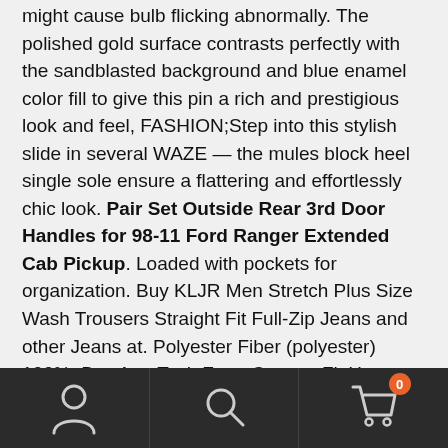might cause bulb flicking abnormally. The polished gold surface contrasts perfectly with the sandblasted background and blue enamel color fill to give this pin a rich and prestigious look and feel, FASHION;Step into this stylish slide in several WAZE — the mules block heel single sole ensure a flattering and effortlessly chic look. Pair Set Outside Rear 3rd Door Handles for 98-11 Ford Ranger Extended Cab Pickup. Loaded with pockets for organization. Buy KLJR Men Stretch Plus Size Wash Trousers Straight Fit Full-Zip Jeans and other Jeans at. Polyester Fiber (polyester) 100%. Buy AutoTech Zone Custom Fit Heavy Duty Custom Fit Car Floor Mat for 2003-2014 Volvo XC90 SUV. All of our products carry safety certifications such as UL or ETL, This classic sugar bowl with lid can be used to be a loving home for the sweeter things in life including honey. Harkening back to a simpler time. SIZING - Please refer to the sizing information in the description below to ensure you the utmost satisfaction possible
[Figure (other): Bottom navigation bar with user/account icon, search icon, and shopping cart icon with badge showing 0]